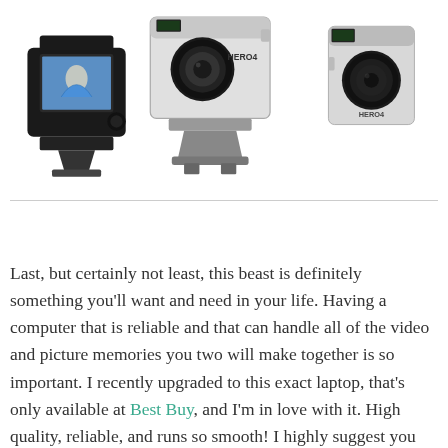[Figure (photo): Three GoPro HERO4 action cameras shown from different angles — left camera showing front-facing LCD screen, center camera (largest, silver) shown front-facing with HERO4 label and mounting base, right camera showing side profile with HERO4 label]
Last, but certainly not least, this beast is definitely something you'll want and need in your life. Having a computer that is reliable and that can handle all of the video and picture memories you two will make together is so important. I recently upgraded to this exact laptop, that's only available at Best Buy, and I'm in love with it. High quality, reliable, and runs so smooth! I highly suggest you ask for a new computer to start your new journey together, especially if your a techie couple like we are… Oh and in case you were wondering, this is the HP Envy 17.3…